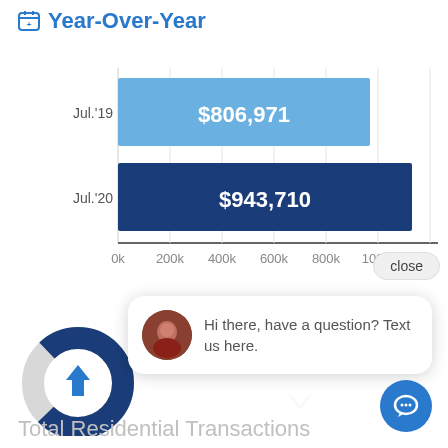Year-Over-Year
[Figure (bar-chart): Year-Over-Year]
[Figure (donut-chart): Partial donut chart with upward arrow icon, showing increase trend]
Hi there, have a question? Text us here.
Total Residential Transactions